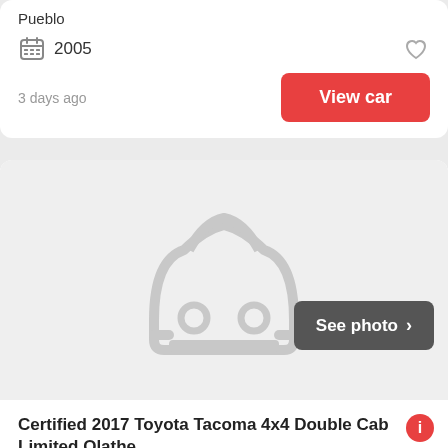Pueblo
2005
3 days ago
View car
[Figure (illustration): Car silhouette placeholder image with 'See photo >' button overlay]
Certified 2017 Toyota Tacoma 4x4 Double Cab Limited Olathe...
$34,433